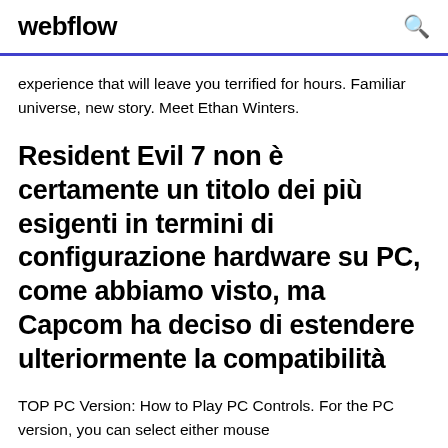webflow
experience that will leave you terrified for hours. Familiar universe, new story. Meet Ethan Winters.
Resident Evil 7 non è certamente un titolo dei più esigenti in termini di configurazione hardware su PC, come abbiamo visto, ma Capcom ha deciso di estendere ulteriormente la compatibilità
TOP PC Version: How to Play PC Controls. For the PC version, you can select either mouse